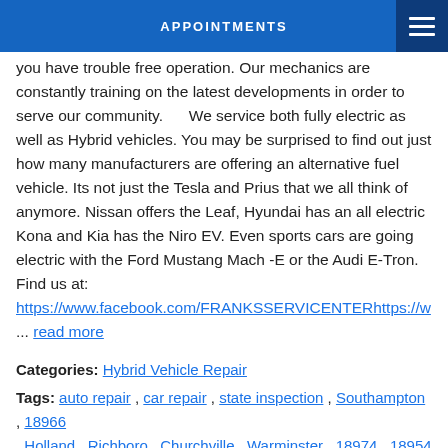APPOINTMENTS
you have trouble free operation. Our mechanics are constantly training on the latest developments in order to serve our community.     We service both fully electric as well as Hybrid vehicles. You may be surprised to find out just how many manufacturers are offering an alternative fuel vehicle. Its not just the Tesla and Prius that we all think of anymore. Nissan offers the Leaf, Hyundai has an all electric Kona and Kia has the Niro EV. Even sports cars are going electric with the Ford Mustang Mach -E or the Audi E-Tron.  Find us at: https://www.facebook.com/FRANKSSERVICENTERhttps://w... read more
Categories: Hybrid Vehicle Repair
Tags: auto repair , car repair , state inspection , Southampton , 18966 , Holland , Richboro , Churchville , Warminster , 18974 , 18954 , Huntingdon Valley , 19006 , Bryn Athyn , 19009 , Feasterville , 19053 , Tesla , Prius , Hybrid repair , electric car repair , Auto repair near me